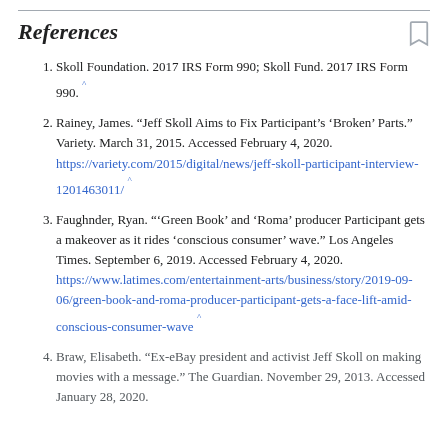References
Skoll Foundation. 2017 IRS Form 990; Skoll Fund. 2017 IRS Form 990. ^
Rainey, James. “Jeff Skoll Aims to Fix Participant’s ‘Broken’ Parts.” Variety. March 31, 2015. Accessed February 4, 2020. https://variety.com/2015/digital/news/jeff-skoll-participant-interview-1201463011/ ^
Faughnder, Ryan. “‘Green Book’ and ‘Roma’ producer Participant gets a makeover as it rides ‘conscious consumer’ wave.” Los Angeles Times. September 6, 2019. Accessed February 4, 2020. https://www.latimes.com/entertainment-arts/business/story/2019-09-06/green-book-and-roma-producer-participant-gets-a-face-lift-amid-conscious-consumer-wave ^
Braw, Elisabeth. “Ex-eBay president and activist Jeff Skoll on making movies with a message.” The Guardian. November 29, 2013. Accessed January 28, 2020.